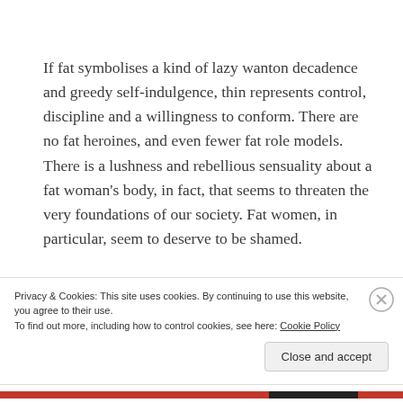If fat symbolises a kind of lazy wanton decadence and greedy self-indulgence, thin represents control, discipline and a willingness to conform. There are no fat heroines, and even fewer fat role models. There is a lushness and rebellious sensuality about a fat woman's body, in fact, that seems to threaten the very foundations of our society. Fat women, in particular, seem to deserve to be shamed.
Privacy & Cookies: This site uses cookies. By continuing to use this website, you agree to their use.
To find out more, including how to control cookies, see here: Cookie Policy
Close and accept